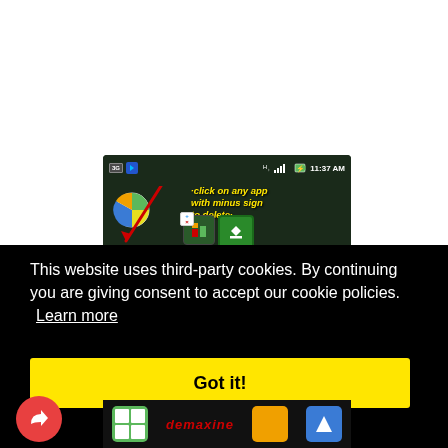[Figure (screenshot): Mobile phone screenshot showing a dark green themed home screen with status bar showing 3G, signal, battery at 11:37 AM. Overlaid text in yellow italic says 'click on any app with minus sign to delete' with a red diagonal slash/arrow. Shows pie chart icon and app icons with minus badges, plus a green download button.]
This website uses third-party cookies. By continuing you are giving consent to accept our cookie policies.  Learn more
Got it!
[Figure (screenshot): Bottom navigation bar of mobile phone showing app icons including a green grid icon, red text logo 'demaxine', yellow icon, and blue triangle/navigation icon.]